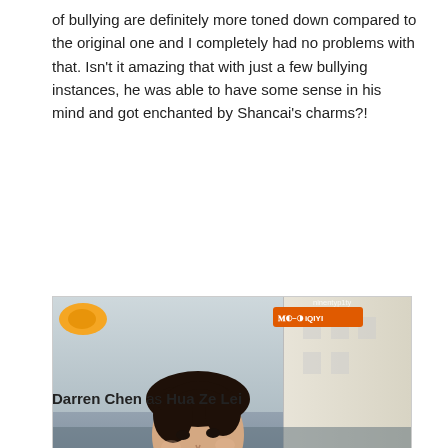of bullying are definitely more toned down compared to the original one and I completely had no problems with that. Isn't it amazing that with just a few bullying instances, he was able to have some sense in his mind and got enchanted by Shancai's charms?!
[Figure (photo): Screenshot from a Chinese drama showing a young man in a grey coat looking upward. Subtitles read 'Music major, Hua Zelei' and '音乐系的花泽类'. Streaming platform logos visible in corners.]
Darren Chen as Hua Ze Lei